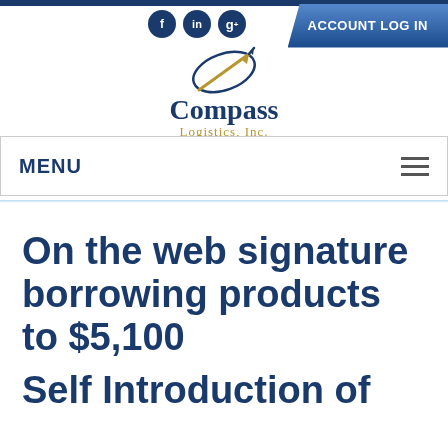[Figure (logo): Compass Logistics, Inc. logo with compass needle graphic above the company name]
ACCOUNT LOG IN
MENU
On the web signature borrowing products to $5,100
Self Introduction of